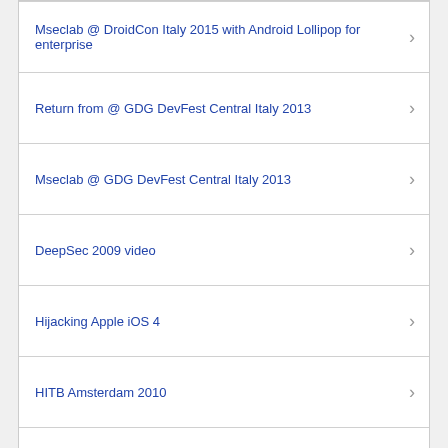Mseclab @ DroidCon Italy 2015 with Android Lollipop for enterprise
Return from @ GDG DevFest Central Italy 2013
Mseclab @ GDG DevFest Central Italy 2013
DeepSec 2009 video
Hijacking Apple iOS 4
HITB Amsterdam 2010
Return from DeepSec 2009
Tricks for Defeating SSL: effectiveness test on mobile phones
Exit the Mobile Edition (view the standard browser version).